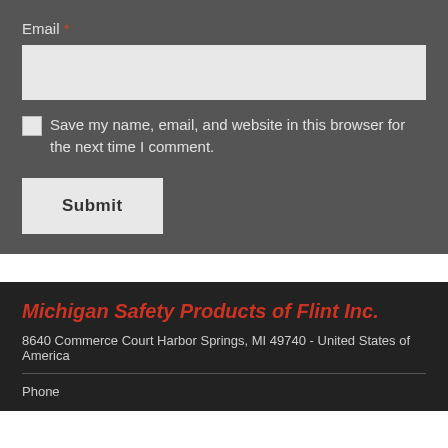Email *
[Figure (screenshot): Email input text field (light gray rectangle)]
Save my name, email, and website in this browser for the next time I comment.
[Figure (screenshot): Submit button (light gray rectangle with bold 'Submit' text)]
Michigan Safety Products of Flint Inc.
8640 Commerce Court Harbor Springs, MI 49740 - United States of America
Phone